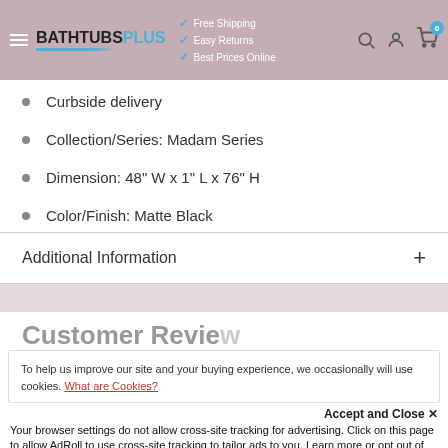BATHTUBS PLUS — Free Shipping, Easy Returns, Best Prices Online
Curbside delivery
Collection/Series: Madam Series
Dimension: 48" W x 1" L x 76" H
Color/Finish: Matte Black
Additional Information
To help us improve our site and your buying experience, we occasionally will use cookies. What are Cookies?
Accept and Close ✕ Your browser settings do not allow cross-site tracking for advertising. Click on this page to allow AdRoll to use cross-site tracking to tailor ads to you. Learn more or opt out of this AdRoll tracking by clicking here. This message only appears once.